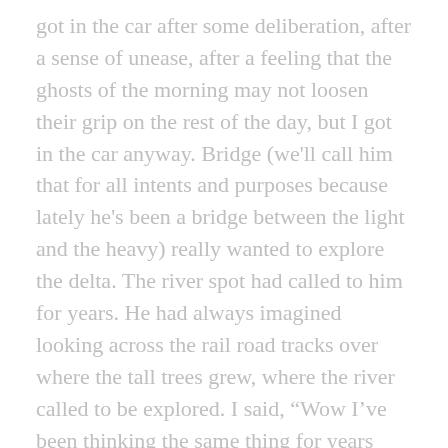got in the car after some deliberation, after a sense of unease, after a feeling that the ghosts of the morning may not loosen their grip on the rest of the day, but I got in the car anyway. Bridge (we'll call him that for all intents and purposes because lately he's been a bridge between the light and the heavy) really wanted to explore the delta. The river spot had called to him for years. He had always imagined looking across the rail road tracks over where the tall trees grew, where the river called to be explored. I said, “Wow I’ve been thinking the same thing for years also!” which was true.
Now we are walking, on the foot trail atop dike that contained and paralleled the river. We passed an older couple who didn’t engage until I said hi. Bridge looked tall, and good, and confident. Different to whom he had been previous the encounter with the